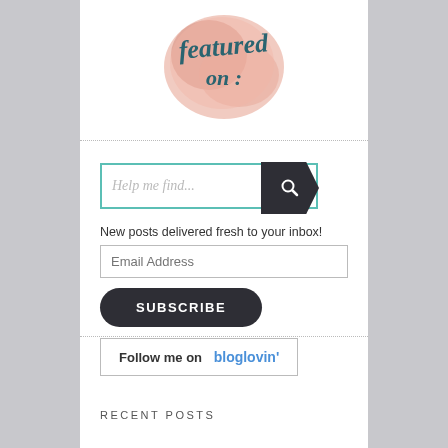[Figure (illustration): Watercolor peach/salmon blob with cursive text 'featured on:' in teal/dark teal color]
[Figure (screenshot): Search bar with teal border and placeholder text 'Help me find...' with dark arrow-shaped search button containing magnifying glass icon]
New posts delivered fresh to your inbox!
[Figure (screenshot): Email Address input field]
[Figure (screenshot): SUBSCRIBE button, dark rounded pill shape]
[Figure (screenshot): Follow me on bloglovin' button with border]
RECENT POSTS